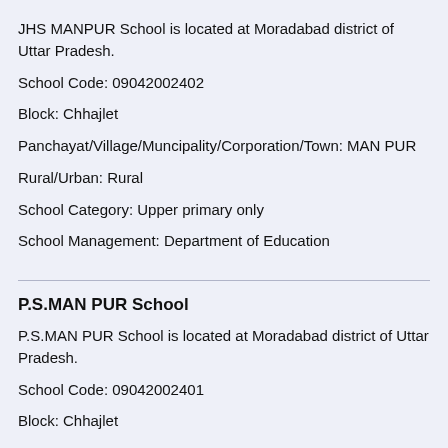JHS MANPUR School is located at Moradabad district of Uttar Pradesh.
School Code: 09042002402
Block: Chhajlet
Panchayat/Village/Muncipality/Corporation/Town: MAN PUR
Rural/Urban: Rural
School Category: Upper primary only
School Management: Department of Education
P.S.MAN PUR School
P.S.MAN PUR School is located at Moradabad district of Uttar Pradesh.
School Code: 09042002401
Block: Chhajlet